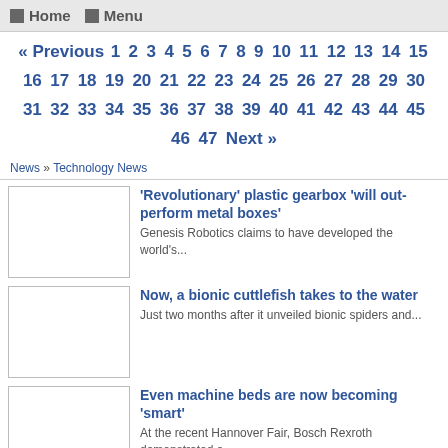Home  Menu
« Previous 1 2 3 4 5 6 7 8 9 10 11 12 13 14 15 16 17 18 19 20 21 22 23 24 25 26 27 28 29 30 31 32 33 34 35 36 37 38 39 40 41 42 43 44 45 46 47 Next »
News » Technology News
'Revolutionary' plastic gearbox 'will out-perform metal boxes'
Genesis Robotics claims to have developed the world's...
Now, a bionic cuttlefish takes to the water
Just two months after it unveiled bionic spiders and...
Even machine beds are now becoming 'smart'
At the recent Hannover Fair, Bosch Rexroth demonstrated a...